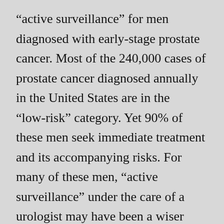“active surveillance” for men diagnosed with early-stage prostate cancer. Most of the 240,000 cases of prostate cancer diagnosed annually in the United States are in the “low-risk” category. Yet 90% of these men seek immediate treatment and its accompanying risks. For many of these men, “active surveillance” under the care of a urologist may have been a wiser choice. “Active surveillance” is much more aggressive than “watchful waiting”. It involves getting regular scans, blood tests and biopsies to monitor the tumor closely enough such that curative treatments could be administered if needed before symptoms would be observed. Men are urged to seek out treatment centers where such “active